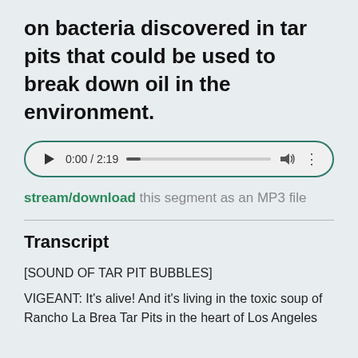on bacteria discovered in tar pits that could be used to break down oil in the environment.
[Figure (other): Audio player widget showing play button, time 0:00 / 2:19, progress bar, volume icon, and more options icon]
stream/download this segment as an MP3 file
Transcript
[SOUND OF TAR PIT BUBBLES]
VIGEANT: It's alive! And it's living in the toxic soup of Rancho La Brea Tar Pits in the heart of Los Angeles